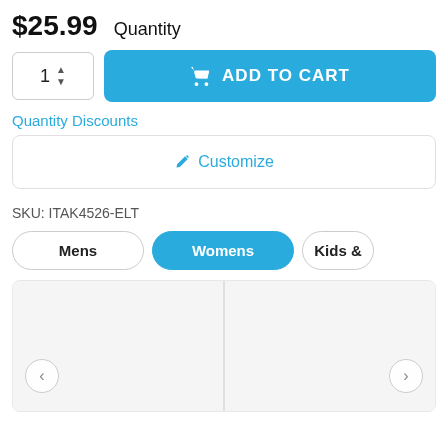$25.99 Quantity
1 ▲▼ ADD TO CART
Quantity Discounts
✏ Customize
SKU: ITAK4526-ELT
Mens | Womens | Kids &
[Figure (screenshot): Two empty product image panels side by side with left and right navigation arrows]